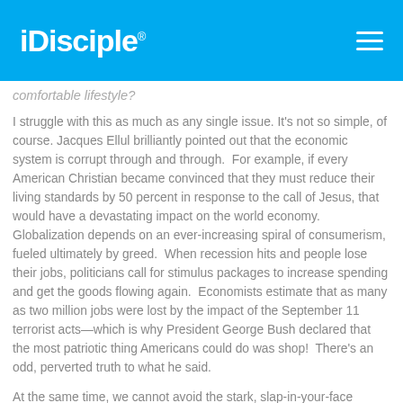iDisciple®
comfortable lifestyle?
I struggle with this as much as any single issue. It's not so simple, of course. Jacques Ellul brilliantly pointed out that the economic system is corrupt through and through.  For example, if every American Christian became convinced that they must reduce their living standards by 50 percent in response to the call of Jesus, that would have a devastating impact on the world economy. Globalization depends on an ever-increasing spiral of consumerism, fueled ultimately by greed.  When recession hits and people lose their jobs, politicians call for stimulus packages to increase spending and get the goods flowing again.  Economists estimate that as many as two million jobs were lost by the impact of the September 11 terrorist acts—which is why President George Bush declared that the most patriotic thing Americans could do was shop!  There's an odd, perverted truth to what he said.
At the same time, we cannot avoid the stark, slap-in-your-face statements about money by Jesus (who, admittedly, lived in a very different economic context).  And we cannot avoid the awful